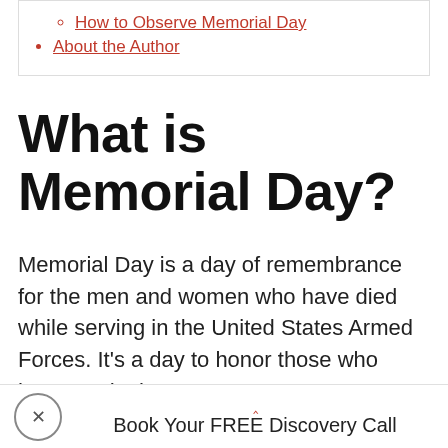How to Observe Memorial Day
About the Author
What is Memorial Day?
Memorial Day is a day of remembrance for the men and women who have died while serving in the United States Armed Forces. It's a day to honor those who have made the
Book Your FREE Discovery Call